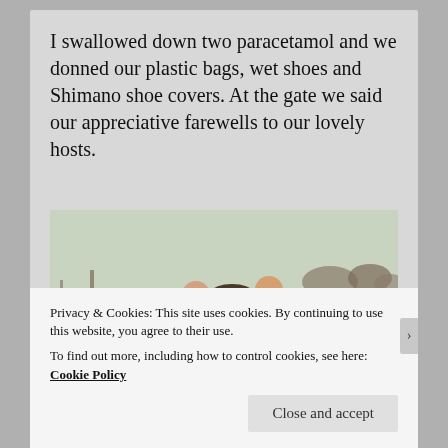I swallowed down two paracetamol and we donned our plastic bags, wet shoes and Shimano shoe covers. At the gate we said our appreciative farewells to our lovely hosts.
[Figure (photo): Three people standing outdoors in a snowy/icy field landscape. A person in a blue jacket on the left, a person with a hat in the middle, and a person in a red/orange jacket on the right. Bare shrubs visible in snowy background.]
Privacy & Cookies: This site uses cookies. By continuing to use this website, you agree to their use.
To find out more, including how to control cookies, see here: Cookie Policy
Close and accept